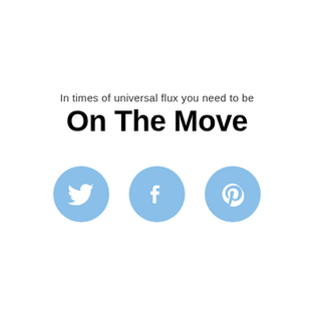In times of universal flux you need to be
On The Move
[Figure (illustration): Three light blue circular social media icons: Twitter bird, Facebook f, and Pinterest p logo, arranged horizontally]